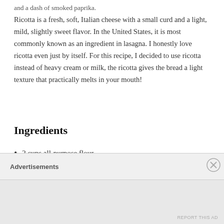and a dash of smoked paprika.
Ricotta is a fresh, soft, Italian cheese with a small curd and a light, mild, slightly sweet flavor. In the United States, it is most commonly known as an ingredient in lasagna. I honestly love ricotta even just by itself. For this recipe, I decided to use ricotta instead of heavy cream or milk, the ricotta gives the bread a light texture that practically melts in your mouth!
Ingredients
2 cups all-purpose flour
1 tablespoon baking powder
½ teaspoon salt
2 1/4 teaspoons sugar
Advertisements